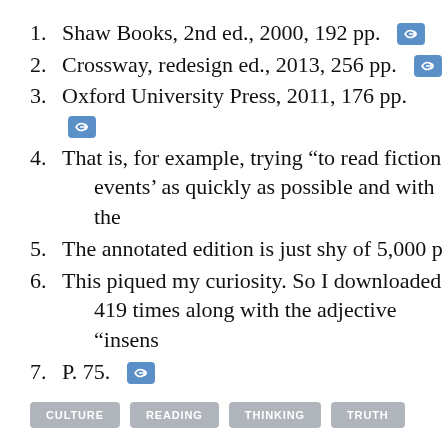1. Shaw Books, 2nd ed., 2000, 192 pp. [link]
2. Crossway, redesign ed., 2013, 256 pp. [link]
3. Oxford University Press, 2011, 176 pp. [link]
4. That is, for example, trying “to read fiction events’ as quickly as possible and with the
5. The annotated edition is just shy of 5,000 p
6. This piqued my curiosity. So I downloaded 419 times along with the adjective “insens
7. P. 75. [link]
CULTURE   READING   THINKING   TRUTH